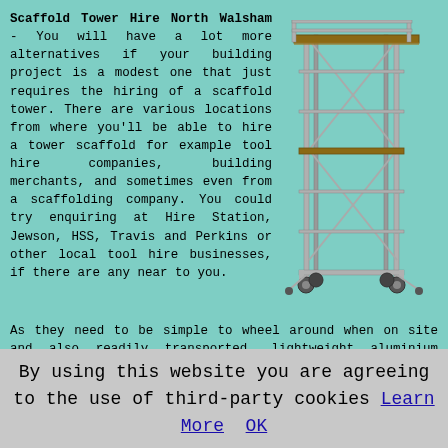Scaffold Tower Hire North Walsham - You will have a lot more alternatives if your building project is a modest one that just requires the hiring of a scaffold tower. There are various locations from where you'll be able to hire a tower scaffold for example tool hire companies, building merchants, and sometimes even from a scaffolding company. You could try enquiring at Hire Station, Jewson, HSS, Travis and Perkins or other local tool hire businesses, if there are any near to you.
[Figure (illustration): A lightweight aluminium scaffold tower on wheels, showing a tall rectangular frame structure with cross-bracing, platforms, and guard rails.]
As they need to be simple to wheel around when on site and also readily transported, lightweight aluminium tubing is generally used to build scaffold towers. Numerous different sizes and shapes are usually available to pick from. Some of the more readily available models are tower bridge decks, folding low level platforms, single width alloy towers, guard rail scaffold towers, cantilever scaffold
By using this website you are agreeing to the use of third-party cookies Learn More  OK